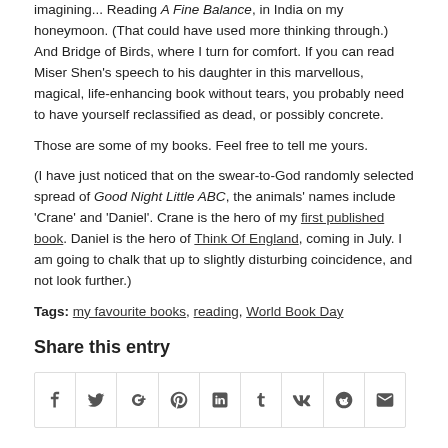imagining... Reading A Fine Balance, in India on my honeymoon. (That could have used more thinking through.) And Bridge of Birds, where I turn for comfort. If you can read Miser Shen's speech to his daughter in this marvellous, magical, life-enhancing book without tears, you probably need to have yourself reclassified as dead, or possibly concrete.
Those are some of my books. Feel free to tell me yours.
(I have just noticed that on the swear-to-God randomly selected spread of Good Night Little ABC, the animals' names include 'Crane' and 'Daniel'. Crane is the hero of my first published book. Daniel is the hero of Think Of England, coming in July. I am going to chalk that up to slightly disturbing coincidence, and not look further.)
Tags: my favourite books, reading, World Book Day
Share this entry
[Figure (other): Row of social media share icons: Facebook, Twitter, Google+, Pinterest, LinkedIn, Tumblr, VK, Reddit, Email]